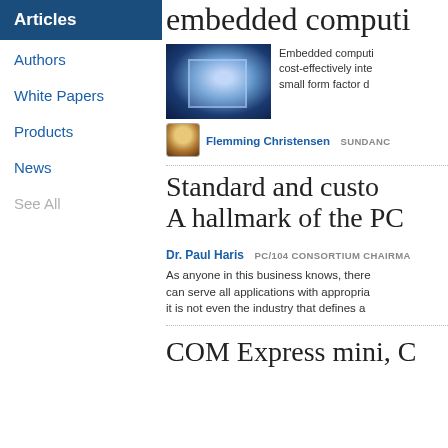Articles
Authors
White Papers
Products
News
See All
embedded computi…
[Figure (photo): Blue circuit board / embedded computing chip illustration]
Embedded computi… cost-effectively inte… small form factor d…
Flemming Christensen  SUNDANC…
Standard and custo… A hallmark of the PC…
Dr. Paul Haris   PC/104 CONSORTIUM CHAIRMA…
As anyone in this business knows, there… can serve all applications with appropria… it is not even the industry that defines a…
COM Express mini, C…